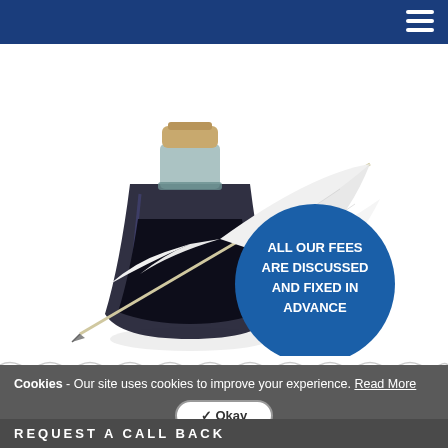Navigation bar with hamburger menu
[Figure (photo): A quill pen resting against an ink bottle with cork stopper. The quill is white and the ink bottle is dark glass filled with black ink. A blue circular badge overlays the image with text: ALL OUR FEES ARE DISCUSSED AND FIXED IN ADVANCE]
Cookies - Our site uses cookies to improve your experience. Read More
✔ Okay
REQUEST A CALL BACK